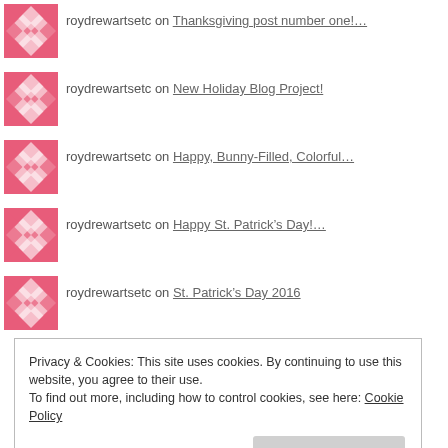roydrewartsetc on Thanksgiving post number one!...
roydrewartsetc on New Holiday Blog Project!
roydrewartsetc on Happy, Bunny-Filled, Colorful...
roydrewartsetc on Happy St. Patrick’s Day!...
roydrewartsetc on St. Patrick’s Day 2016
Privacy & Cookies: This site uses cookies. By continuing to use this website, you agree to their use.
To find out more, including how to control cookies, see here: Cookie Policy
Close and accept